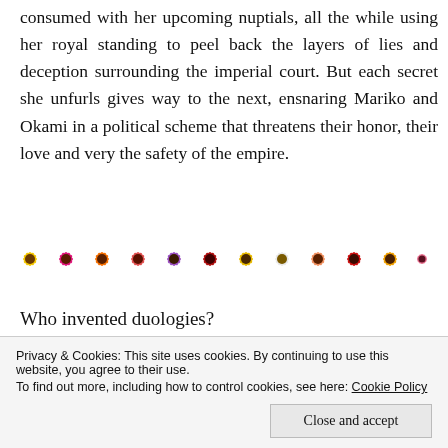consumed with her upcoming nuptials, all the while using her royal standing to peel back the layers of lies and deception surrounding the imperial court. But each secret she unfurls gives way to the next, ensnaring Mariko and Okami in a political scheme that threatens their honor, their love and very the safety of the empire.
[Figure (illustration): A row of colorful daisy/gerbera flower icons in various colors: yellow, pink/magenta, orange, coral/pink, purple, dark red, yellow, white, peach, red, orange-yellow, pink]
Who invented duologies?
No, but really, since when is it okay for a series with such unique content and loveable characters to end so soon?
Privacy & Cookies: This site uses cookies. By continuing to use this website, you agree to their use. To find out more, including how to control cookies, see here: Cookie Policy
Close and accept